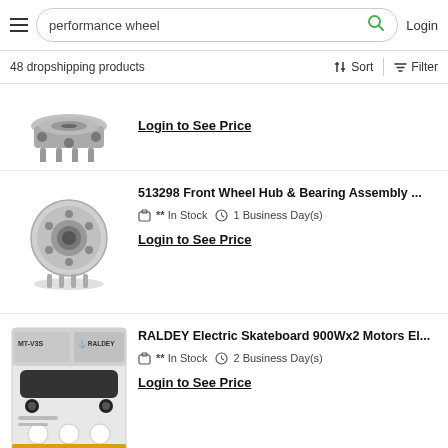performance wheel | Login
48 dropshipping products
Sort | Filter
Login to See Price
513298 Front Wheel Hub & Bearing Assembly ... ** In Stock  1 Business Day(s)
Login to See Price
RALDEY Electric Skateboard 900Wx2 Motors El... ** In Stock  2 Business Day(s)
Login to See Price